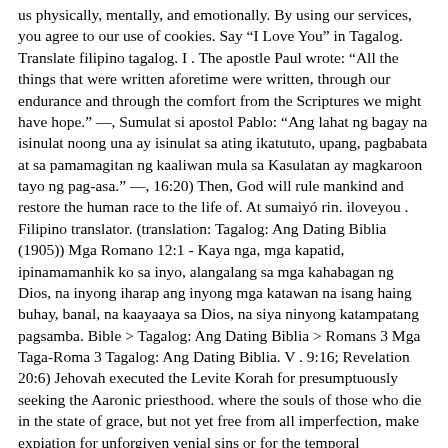us physically, mentally, and emotionally. By using our services, you agree to our use of cookies. Say “I Love You” in Tagalog. Translate filipino tagalog. I . The apostle Paul wrote: “All the things that were written aforetime were written, through our endurance and through the comfort from the Scriptures we might have hope.” —, Sumulat si apostol Pablo: “Ang lahat ng bagay na isinulat noong una ay isinulat sa ating ikatututo, upang, pagbabata at sa pamamagitan ng kaaliwan mula sa Kasulatan ay magkaroon tayo ng pag-asa.” —, 16:20) Then, God will rule mankind and restore the human race to the life of. At sumaiyó rin. iloveyou . Filipino translator. (translation: Tagalog: Ang Dating Biblia (1905)) Mga Romano 12:1 - Kaya nga, mga kapatid, ipinamamanhik ko sa inyo, alangalang sa mga kahabagan ng Dios, na inyong iharap ang inyong mga katawan na isang haing buhay, banal, na kaayaaya sa Dios, na siya ninyong katampatang pagsamba. Bible > Tagalog: Ang Dating Biblia > Romans 3 Mga Taga-Roma 3 Tagalog: Ang Dating Biblia. V . 9:16; Revelation 20:6) Jehovah executed the Levite Korah for presumptuously seeking the Aaronic priesthood. where the souls of those who die in the state of grace, but not yet free from all imperfection, make expiation for unforgiven venial sins or for the temporal punishment due to venial and mortal sins that have already been forgiven and, by so doing, are purified before they enter heaven.”, Katoliko] Iglesiya, ang kalagayan, dako, o kondisyon sa kabilang daigdig, doon ang mga kaluluwa ng mga namatay sa kalagayan ng biyaya